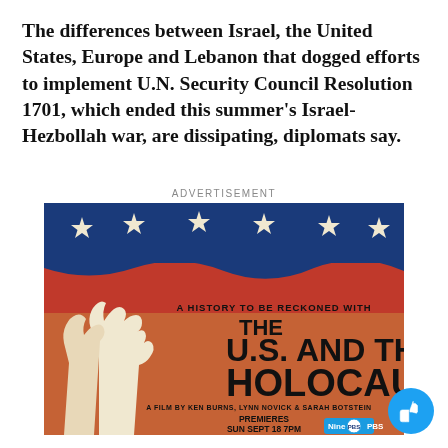The differences between Israel, the United States, Europe and Lebanon that dogged efforts to implement U.N. Security Council Resolution 1701, which ended this summer's Israel-Hezbollah war, are dissipating, diplomats say.
ADVERTISEMENT
[Figure (illustration): Advertisement poster for PBS documentary 'The U.S. and the Holocaust' - a film by Ken Burns, Lynn Novick & Sarah Botstein. Features a red, white and blue graphic with hands reaching up toward stars. Text reads: A HISTORY TO BE RECKONED WITH / THE U.S. AND THE HOLOCAUST / A FILM BY KEN BURNS, LYNN NOVICK & SARAH BOTSTEIN / PREMIERES SUN SEPT 18 7PM / Nine PBS logo]